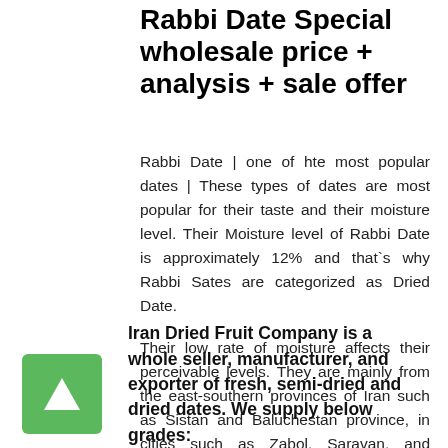Rabbi Date Special wholesale price + analysis + sale offer
Rabbi Date | one of hte most popular dates | These types of dates are most popular for their taste and their moisture level. Their Moisture level of Rabbi Date is approximately 12% and that`s why Rabbi Sates are categorized as Dried Date.
Their low rate of moisture affects their perceivable levels. They are mainly from the east-southern provinces of Iran such as Sistan and Baluchestan province, in cities such as Zabol, Saravan, and Chabahar.
Iran Dried Fruit Company is a  whole seller, manufacturer, and exporter of fresh, semi-dried and dried dates. We supply below grades: